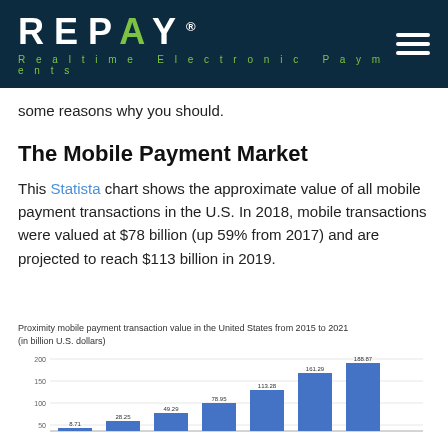[Figure (logo): REPAY logo with tagline 'Realtime Electronic Payments' on dark navy background with hamburger menu icon]
some reasons why you should.
The Mobile Payment Market
This Statista chart shows the approximate value of all mobile payment transactions in the U.S. In 2018, mobile transactions were valued at $78 billion (up 59% from 2017) and are projected to reach $113 billion in 2019.
Proximity mobile payment transaction value in the United States from 2015 to 2021 (in billion U.S. dollars)
[Figure (bar-chart): Proximity mobile payment transaction value in the United States from 2015 to 2021 (in billion U.S. dollars)]